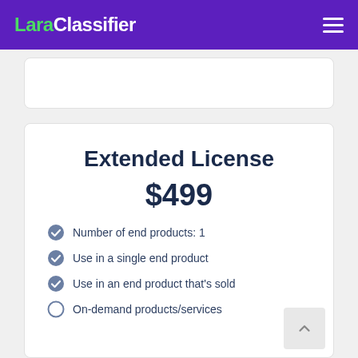LaraClassifier
Extended License
$499
Number of end products: 1
Use in a single end product
Use in an end product that's sold
On-demand products/services